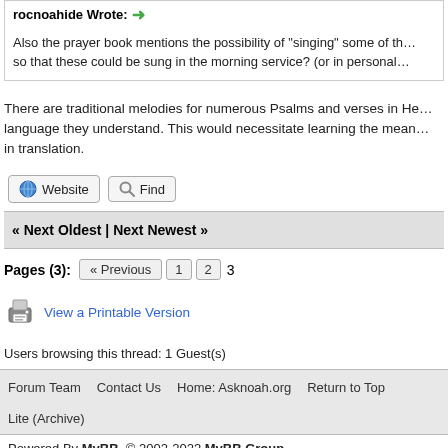rocnoahide Wrote: →
Also the prayer book mentions the possibility of "singing" some of th… so that these could be sung in the morning service? (or in personal…
There are traditional melodies for numerous Psalms and verses in He… language they understand. This would necessitate learning the mean… in translation.
Website   Find
« Next Oldest | Next Newest »
Pages (3):  « Previous  1  2  3
View a Printable Version
Users browsing this thread: 1 Guest(s)
Forum Team   Contact Us   Home: Asknoah.org   Return to Top   Lite (Archive)
Powered By MyBB, © 2002-2022 MyBB Group.